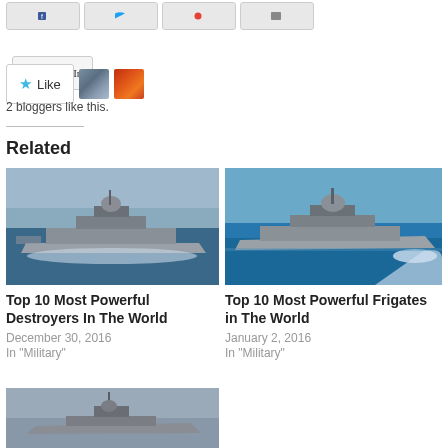[Figure (screenshot): Social media share buttons row (partially visible at top)]
[Figure (screenshot): LinkedIn share button]
[Figure (screenshot): Like button with star and two blogger avatars]
2 bloggers like this.
Related
[Figure (photo): Naval destroyer ship at sea, grey warship cutting through blue water]
Top 10 Most Powerful Destroyers In The World
December 30, 2016
In "Military"
[Figure (photo): Naval frigate ship at sea, grey warship with white wake on blue water]
Top 10 Most Powerful Frigates in The World
January 2, 2016
In "Military"
[Figure (photo): Another naval warship partially visible at bottom of page]